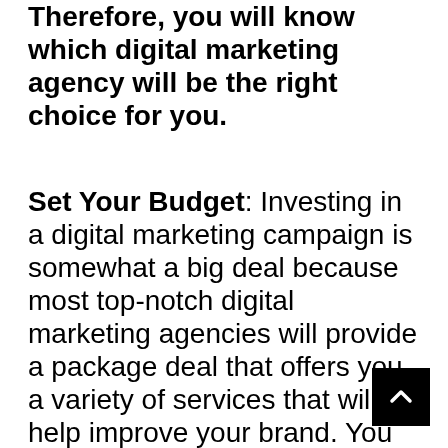Therefore, you will know which digital marketing agency will be the right choice for you.
Set Your Budget: Investing in a digital marketing campaign is somewhat a big deal because most top-notch digital marketing agencies will provide a package deal that offers you a variety of services that will help improve your brand. You have to put a minimum amount for a trial session to check if the campaign works right for your business type. It can be social media advertising, SEO, content creation, blogging, ads, etc.